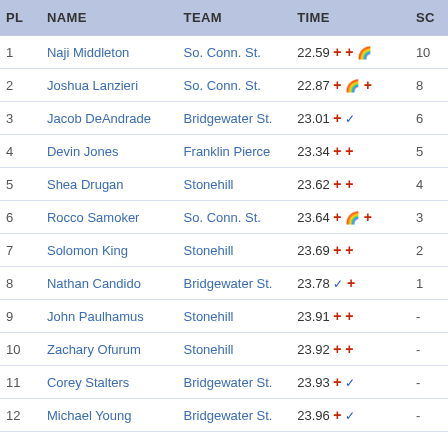| PL | NAME | TEAM | TIME | SC |
| --- | --- | --- | --- | --- |
| 1 | Naji Middleton | So. Conn. St. | 22.59 + + 🏴 | 10 |
| 2 | Joshua Lanzieri | So. Conn. St. | 22.87 + 🏴 + | 8 |
| 3 | Jacob DeAndrade | Bridgewater St. | 23.01 + ✓ | 6 |
| 4 | Devin Jones | Franklin Pierce | 23.34 + + | 5 |
| 5 | Shea Drugan | Stonehill | 23.62 + + | 4 |
| 6 | Rocco Samoker | So. Conn. St. | 23.64 + 🏴 + | 3 |
| 7 | Solomon King | Stonehill | 23.69 + + | 2 |
| 8 | Nathan Candido | Bridgewater St. | 23.78 ✓ + | 1 |
| 9 | John Paulhamus | Stonehill | 23.91 + + | - |
| 10 | Zachary Ofurum | Stonehill | 23.92 + + | - |
| 11 | Corey Stalters | Bridgewater St. | 23.93 + ✓ | - |
| 12 | Michael Young | Bridgewater St. | 23.96 + ✓ | - |